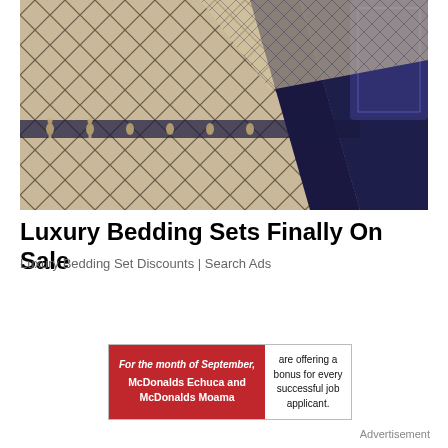[Figure (photo): Photo of luxury bedding sets with navy and beige diamond/lattice pattern and fleur-de-lis border embroidery, draped on a bed.]
Luxury Bedding Sets Finally On Sale
Luxury Bedding Set Discounts | Search Ads
[Figure (infographic): McDonald's advertisement banner. Red block: 'For the month of September, McDonalds Echuca and McDonalds Moama'. White block: 'are offering a bonus for every successful job applicant.']
Advertisement